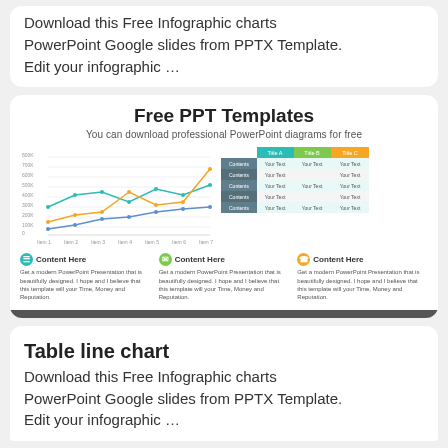Download this Free Infographic charts PowerPoint Google slides from PPTX Template. Edit your infographic …
[Figure (screenshot): Free PPT Templates card with line chart and table preview, plus three content blocks with icons]
Table line chart
Download this Free Infographic charts PowerPoint Google slides from PPTX Template. Edit your infographic …